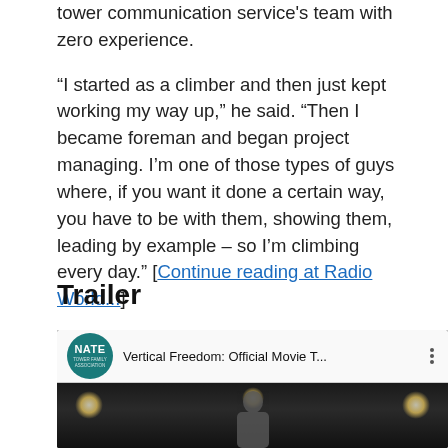tower communication service's team with zero experience.

“I started as a climber and then just kept working my way up,” he said. “Then I became foreman and began project managing. I’m one of those types of guys where, if you want it done a certain way, you have to be with them, showing them, leading by example – so I’m climbing every day.” [Continue reading at Radio World...]
Trailer
[Figure (screenshot): YouTube video embed showing NATE channel logo and title 'Vertical Freedom: Official Movie T...' with a dark video thumbnail featuring a person and bokeh lights]